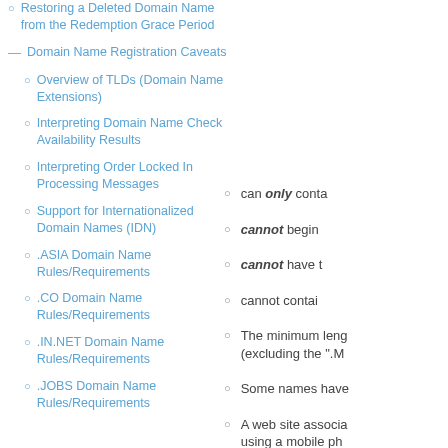Restoring a Deleted Domain Name from the Redemption Grace Period
Domain Name Registration Caveats
Overview of TLDs (Domain Name Extensions)
Interpreting Domain Name Check Availability Results
Interpreting Order Locked In Processing Messages
Support for Internationalized Domain Names (IDN)
.ASIA Domain Name Rules/Requirements
.CO Domain Name Rules/Requirements
.IN.NET Domain Name Rules/Requirements
.JOBS Domain Name Rules/Requirements
can only conta
cannot begin
cannot have t
cannot contai
The minimum leng (excluding the ".M
Some names have
A web site associa using a mobile ph